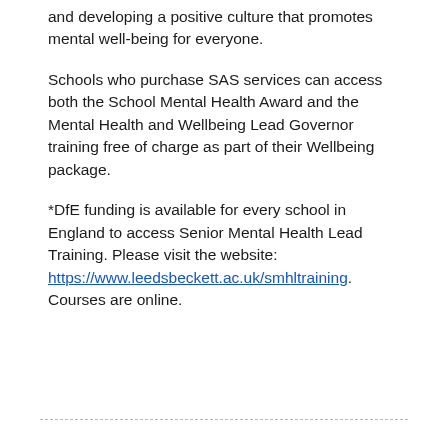and developing a positive culture that promotes mental well-being for everyone.
Schools who purchase SAS services can access both the School Mental Health Award and the Mental Health and Wellbeing Lead Governor training free of charge as part of their Wellbeing package.
*DfE funding is available for every school in England to access Senior Mental Health Lead Training. Please visit the website: https://www.leedsbeckett.ac.uk/smhltraining. Courses are online.